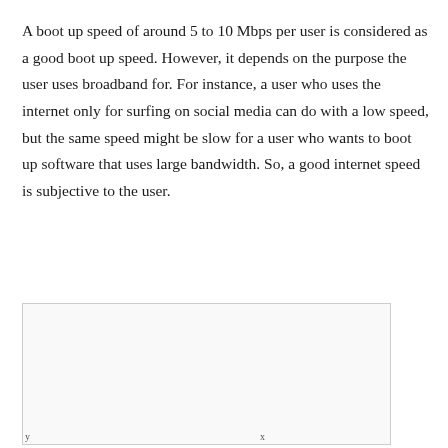A boot up speed of around 5 to 10 Mbps per user is considered as a good boot up speed. However, it depends on the purpose the user uses broadband for. For instance, a user who uses the internet only for surfing on social media can do with a low speed, but the same speed might be slow for a user who wants to boot up software that uses large bandwidth. So, a good internet speed is subjective to the user.
[Figure (other): A partially visible chart or figure with a light gray background and a thin border. Only the top and left portions of the chart are visible; axis labels appear at the bottom edge.]